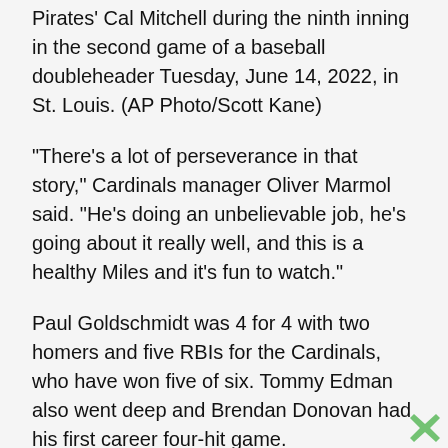Pirates' Cal Mitchell during the ninth inning in the second game of a baseball doubleheader Tuesday, June 14, 2022, in St. Louis. (AP Photo/Scott Kane)
“There’s a lot of perseverance in that story,” Cardinals manager Oliver Marmol said. “He’s doing an unbelievable job, he’s going about it really well, and this is a healthy Miles and it’s fun to watch.”
Paul Goldschmidt was 4 for 4 with two homers and five RBIs for the Cardinals, who have won five of six. Tommy Edman also went deep and Brendan Donovan had his first career four-hit game.
Bryse Wilson (0-4) gave up seven runs in five